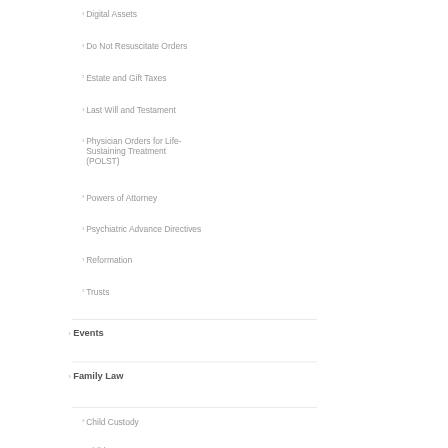Digital Assets
Do Not Resuscitate Orders
Estate and Gift Taxes
Last Will and Testament
Physician Orders for Life-Sustaining Treatment (POLST)
Powers of Attorney
Psychiatric Advance Directives
Reformation
Trusts
Events
Family Law
Child Custody
Child Support